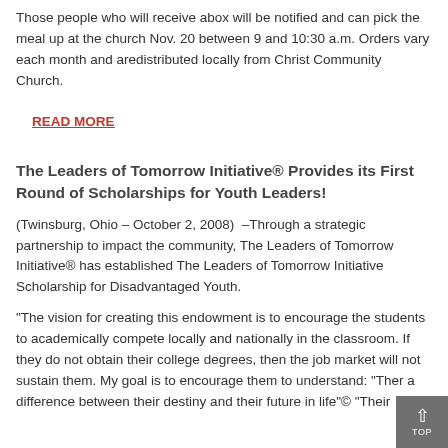Those people who will receive abox will be notified and can pick the meal up at the church Nov. 20 between 9 and 10:30 a.m. Orders vary each month and aredistributed locally from Christ Community Church.
READ MORE
The Leaders of Tomorrow Initiative® Provides its First Round of Scholarships for Youth Leaders!
(Twinsburg, Ohio – October 2, 2008)  –Through a strategic partnership to impact the community, The Leaders of Tomorrow Initiative® has established The Leaders of Tomorrow Initiative Scholarship for Disadvantaged Youth.
"The vision for creating this endowment is to encourage the students to academically compete locally and nationally in the classroom. If they do not obtain their college degrees, then the job market will not sustain them. My goal is to encourage them to understand: "Ther a difference between their destiny and their future in life"© "Their